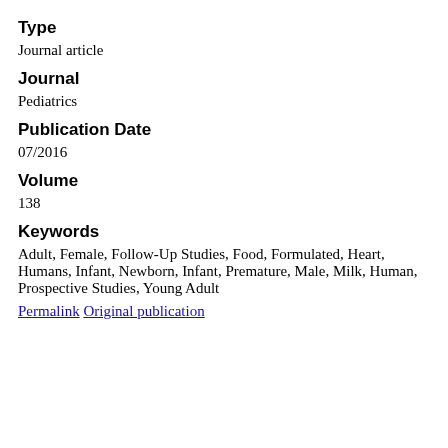Type
Journal article
Journal
Pediatrics
Publication Date
07/2016
Volume
138
Keywords
Adult, Female, Follow-Up Studies, Food, Formulated, Heart, Humans, Infant, Newborn, Infant, Premature, Male, Milk, Human, Prospective Studies, Young Adult
Permalink  Original publication